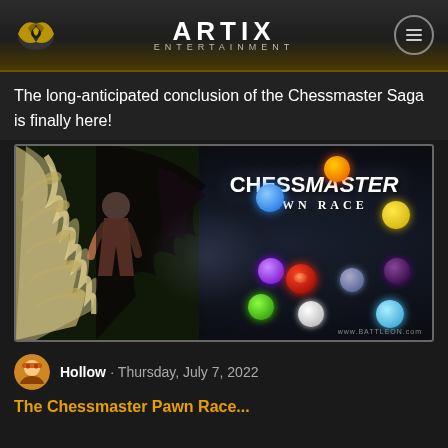ARTIX ENTERTAINMENT
The long-anticipated conclusion of the Chessmaster Saga is finally here!
[Figure (illustration): Game promotional image for Chessmaster: Pawn Race, showing a female character against a skeletal creature background, with colorful orbs/balls floating around the title text. URL www.BATTLEON.com shown at bottom.]
Hollow · Thursday, July 7, 2022
The Chessmaster Pawn Race...